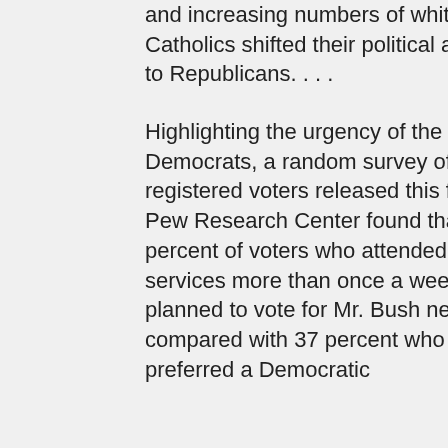and increasing numbers of white Roman Catholics shifted their political allegiances to Republicans. . . .
Highlighting the urgency of the issue for Democrats, a random survey of 1,997 registered voters released this fall by the Pew Research Center found that 63 percent of voters who attended religious services more than once a week said they planned to vote for Mr. Bush next year. That compared with 37 percent who said they preferred a Democratic
(Weekly)
My guide to UU blogs
Interdependent web
UUpdates (aggregator)
UUBlogSearch
UU podcasts
News (Google)
News (Topix)
News (uuworld.org)
UUs in the media
Your support helps pay for this site.
Keeping up
[Figure (other): RSS feed icon (orange square with white wifi-style signal bars)]